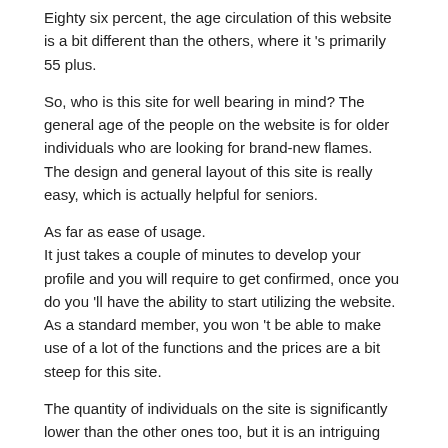Eighty six percent, the age circulation of this website is a bit different than the others, where it 's primarily 55 plus.
So, who is this site for well bearing in mind? The general age of the people on the website is for older individuals who are looking for brand-new flames. The design and general layout of this site is really easy, which is actually helpful for seniors.
As far as ease of usage. It just takes a couple of minutes to develop your profile and you will require to get confirmed, once you do you 'll have the ability to start utilizing the website. As a standard member, you won 't be able to make use of a lot of the functions and the prices are a bit steep for this site.
The quantity of individuals on the site is significantly lower than the other ones too, but it is an intriguing one to check out.
Overall, however, we would say that ashley madison is the best